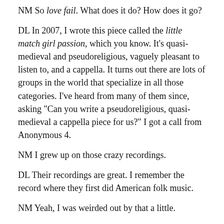NM So love fail. What does it do? How does it go?
DL In 2007, I wrote this piece called the little match girl passion, which you know. It’s quasi-medieval and pseudoreligious, vaguely pleasant to listen to, and a cappella. It turns out there are lots of groups in the world that specialize in all those categories. I’ve heard from many of them since, asking “Can you write a pseudoreligious, quasi-medieval a cappella piece for us?” I got a call from Anonymous 4.
NM I grew up on those crazy recordings.
DL Their recordings are great. I remember the record where they first did American folk music.
NM Yeah, I was weirded out by that a little.
DL It was like Bob Dylan playing electric guitar—a shocking moment! But I really love it. So they asked